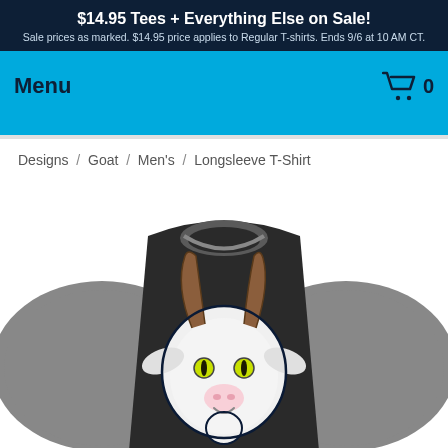$14.95 Tees + Everything Else on Sale! Sale prices as marked. $14.95 price applies to Regular T-shirts. Ends 9/6 at 10 AM CT.
Menu
0
Designs / Goat / Men's / Longsleeve T-Shirt
[Figure (photo): A long-sleeve raglan baseball t-shirt with dark charcoal body and grey sleeves, featuring a cartoon goat head graphic (white goat with brown horns, green eyes, pink nose) on the front.]